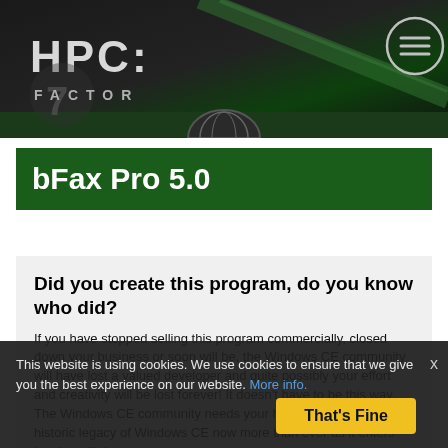[Figure (logo): HPC Factor website header with dark background, green swoosh, globe icon, and hamburger menu icon]
bFax Pro 5.0
Did you create this program, do you know who did?
If you have stopped selling this program commercially, closed down your business or soon will be, the Windows CE community will have lost a valued developer and quite possibly your effort and creativity will be lost forever! It doesn't have to be this way,. The Windows CE community needs your help to preserve the historic legacy of Windows CE now more than ever as it enters into its twilight years.
Will you please consider either open sourcing or donating your application under a creative commons license, where you keep full control of your application's rights, but allow the community to benefit from your ef...
Please contact the webmaster if you are interested or would
This website is using cookies. We use cookies to ensure that we give you the best experience on our website. More info. That's Fine